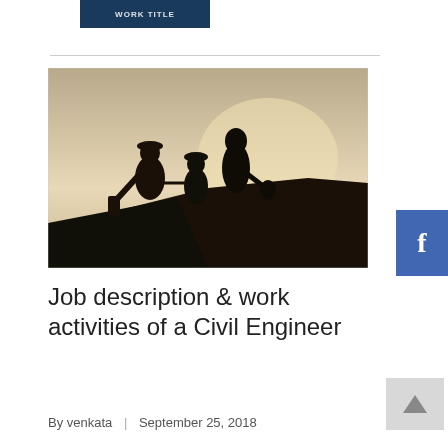WORK TITLE
[Figure (photo): Silhouette of three construction workers on a rooftop against a warm sunset sky, one holding equipment]
Job description & work activities of a Civil Engineer
By venkata  |  September 25, 2018